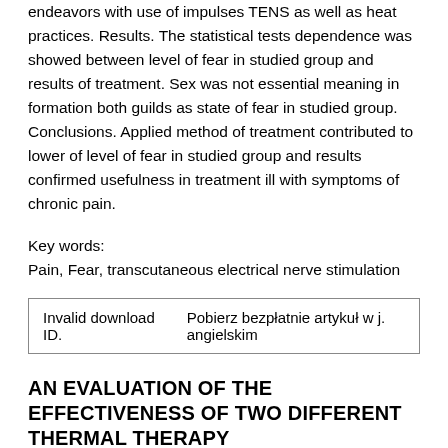endeavors with use of impulses TENS as well as heat practices. Results. The statistical tests dependence was showed between level of fear in studied group and results of treatment. Sex was not essential meaning in formation both guilds as state of fear in studied group. Conclusions. Applied method of treatment contributed to lower of level of fear in studied group and results confirmed usefulness in treatment ill with symptoms of chronic pain.
Key words:
Pain, Fear, transcutaneous electrical nerve stimulation
| Invalid download ID. | Pobierz bezpłatnie artykuł w j. angielskim |
AN EVALUATION OF THE EFFECTIVENESS OF TWO DIFFERENT THERMAL THERAPY